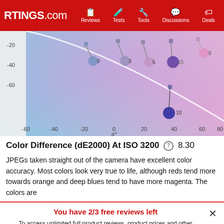RTINGS.com | Reviews | Tests | Tools | Discussions | Deals
[Figure (continuous-plot): Color difference chart showing a* vs b* color space plot with colored background gradient (cyan to magenta/pink). Multiple data points connected by lines representing different color samples at ISO 3200, with numeric labels (8, 9, 5, 5, 15, 10). X-axis labeled a* ranging from -60 to 80, Y-axis ranging from -20 to -80 (partial).]
Color Difference (dE2000) At ISO 3200  8.30
JPEGs taken straight out of the camera have excellent color accuracy. Most colors look very true to life, although reds tend more towards orange and deep blues tend to have more magenta. The colors are
You have 2/3 free reviews left
To access unlimited full product reviews, product prices and other exclusive site features Become an Insider